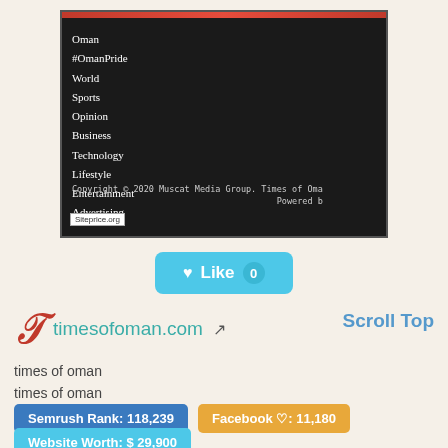[Figure (screenshot): Screenshot of timesofoman.com website showing a dark navigation menu with items: Oman, #OmanPride, World, Sports, Opinion, Business, Technology, Lifestyle, Entertainment, Advertising, and a footer copyright line. Red bar at top. Siteprice.org watermark at bottom left.]
[Figure (other): Like button in cyan/teal color with heart icon, text 'Like' and count '0']
timesofoman.com
Scroll Top
times of oman
times of oman
Semrush Rank: 118,239
Facebook ♡: 11,180
Website Worth: $ 29,900